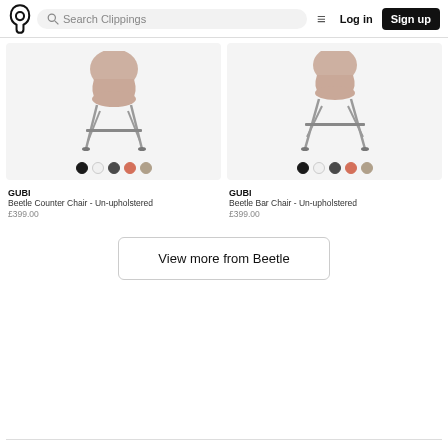Search Clippings | Log in | Sign up
[Figure (photo): GUBI Beetle Counter Chair - Un-upholstered, pink shell with chrome legs, color swatches below]
GUBI
Beetle Counter Chair - Un-upholstered
£399.00
[Figure (photo): GUBI Beetle Bar Chair - Un-upholstered, pink shell with chrome legs, color swatches below]
GUBI
Beetle Bar Chair - Un-upholstered
£399.00
View more from Beetle